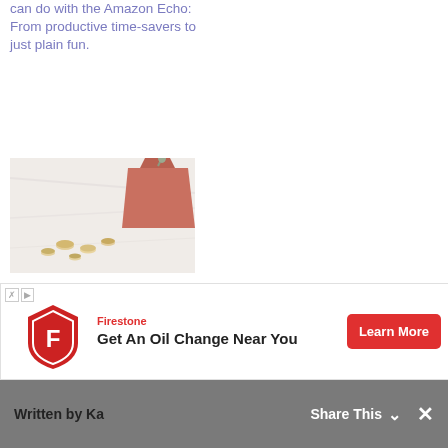can do with the Amazon Echo: From productive time-savers to just plain fun.
organization series: The best Alexa calendar skills
[Figure (photo): Close-up photo of coins and a red/coral colored pouch or envelope on a marble surface]
Our Alexa organization series: The best Alexa finance skills
[Figure (advertisement): Firestone advertisement: Get An Oil Change Near You with Learn More button and Firestone logo]
Written by Ka  Share This  ×